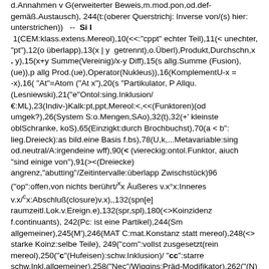d.Annahmen v G(erweiterter Beweis,m.mod.pon,od.def-gemäß.Austausch), 244(t:(oberer Querstrichj: Inverse von/(s) hier: unterstrichen))  --  Si I 1(CEM:klass.extens.Mereol),10(<<:"cppt" echter Teil),11(< unechter,"pt"),12(o überlapp),13(x | y  getrennt),o.Überl),Produkt,Durchschn,x . y),15(x+y Summe(Vereinig)/x-y Diff),15(s allg.Summe (Fusion),(ue)),p allg Prod.(ue),Operator(Nukleus)),16(KomplementU-x = -x),16( "At"=Atom ("At x"),20(s "Partikulator, P Allqu.(Lesniewski),21("e"Ontol:sing.Inklusion/€:ML),23(Indiv-)Kalk:pt,ppt,Mereol:<,<<(Funktoren)(od umgek?),26(System S:o.Mengen,SAo),32(t),32(+' kleinste oblSchranke, koS),65(Einzigkt:durch Brochbuchst),70(a < b":lieg.Dreieck):as bild.eine Basis f.bs),78(U,k,...Metavariable:sing od.neutral/A:irgendeine wff),90(< (viereckig:ontol.Funktor, aiuch "sind einige von"),91(><(Dreiecke) angrenz,"abutting"/Zeitintervalle:überlapp Zwischstück)96 ("op":offen,von nichts berührt/ˣx Äußeres v.x°x:Inneres v.x/ᶜx:Abschluß(closure)v.x),,132(spn[e] raumzeitl.Lok.v.Ereign.e),132(spr,spl),180(<>Koinzidenz f.continuants), 242(Pc: ist eine Partikel),244(Sm allgemeiner),245(M'),246(MAT C:mat.Konstanz statt mereol),248(<> starke Koinz:selbe Teile), 249("com":vollst zusgesetzt(rein mereol),250("c"(Hufeisen):schw.Inklusion)/ "cc":starre schw.Inkl,allgemeiner),258("Nec"/Wiggins:Präd-Modifikator),262("(N)(x,y.." statt (x)N(y)"),279(< (viereckig):Teil-Rel f.Klass),295("7"(m.Querstrich):schwache starre Abhgkt, o.Qurstr:starke:hier: 7 fett):v.El.einer Art, v.denen einer and Art),328(< R >,cll(links geschl),clr (re),cl:beidseit)),335(x FF y:bik Fx u Fy),336(Rᵂ:assoziierte Rel."Rel in w"):innerhalb eines ganzen(nicht